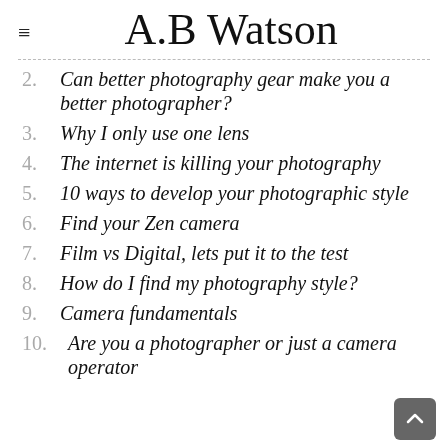A.B Watson
2. Can better photography gear make you a better photographer?
3. Why I only use one lens
4. The internet is killing your photography
5. 10 ways to develop your photographic style
6. Find your Zen camera
7. Film vs Digital, lets put it to the test
8. How do I find my photography style?
9. Camera fundamentals
10. Are you a photographer or just a camera operator